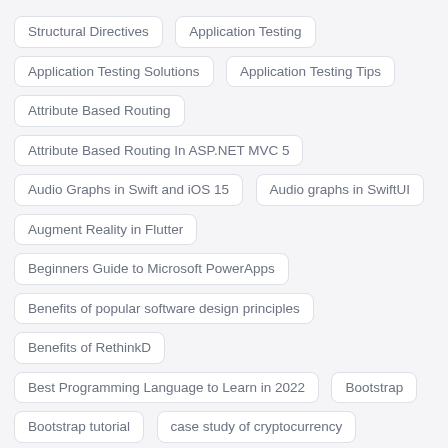Structural Directives
Application Testing
Application Testing Solutions
Application Testing Tips
Attribute Based Routing
Attribute Based Routing In ASP.NET MVC 5
Audio Graphs in Swift and iOS 15
Audio graphs in SwiftUI
Augment Reality in Flutter
Beginners Guide to Microsoft PowerApps
Benefits of popular software design principles
Benefits of RethinkD
Best Programming Language to Learn in 2022
Bootstrap
Bootstrap tutorial
case study of cryptocurrency
case study of e learning app development
case study of food delivery app